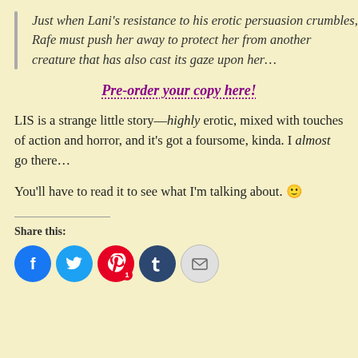Just when Lani's resistance to his erotic persuasion crumbles, Rafe must push her away to protect her from another creature that has also cast its gaze upon her…
Pre-order your copy here!
LIS is a strange little story—highly erotic, mixed with touches of action and horror, and it's got a foursome, kinda. I almost go there…
You'll have to read it to see what I'm talking about. 🙂
Share this:
[Figure (infographic): Social share buttons: Facebook (blue), Twitter (light blue), Pinterest (red with badge '1'), Tumblr (dark blue), Email (grey)]